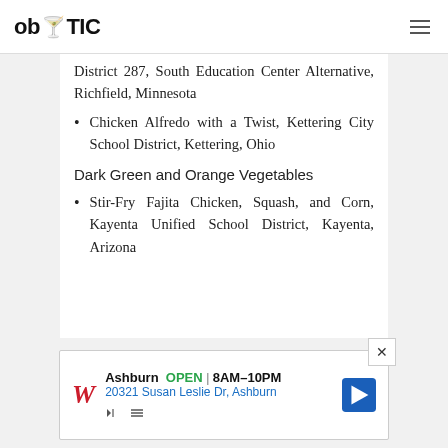ob TIC
District 287, South Education Center Alternative, Richfield, Minnesota
Chicken Alfredo with a Twist, Kettering City School District, Kettering, Ohio
Dark Green and Orange Vegetables
Stir-Fry Fajita Chicken, Squash, and Corn, Kayenta Unified School District, Kayenta, Arizona
[Figure (advertisement): Walgreens ad: Ashburn OPEN 8AM-10PM, 20321 Susan Leslie Dr, Ashburn]